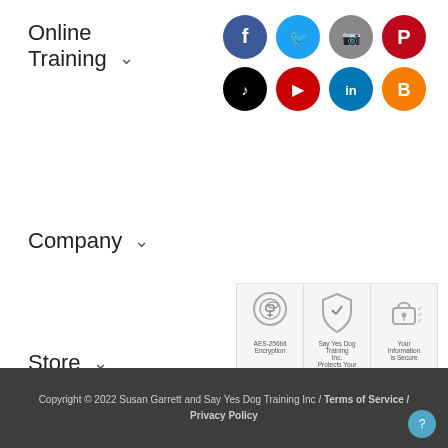Online Training ∨
[Figure (infographic): Social media icons grid: Facebook (blue), Twitter (light blue), Instagram (gray), Pinterest (red) in top row; TikTok (black), YouTube (red), LinkedIn (teal), Blogger (orange) in bottom row]
Company ∨
[Figure (infographic): Three security badge icons: AES-256bit Encryption (key icon), Say Yes Dog Training Inc. Protects Your Privacy (shield icon), Your Information is Secure (padlock icon with checkmarks)]
Store ∨
Copyright © 2022 Susan Garrett and Say Yes Dog Training Inc / Terms of Service / Privacy Policy